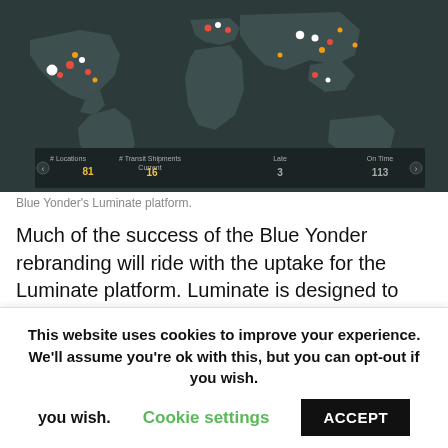[Figure (screenshot): Blue Yonder's Luminate platform world map showing transit shipments with colored location markers across continents, on a dark teal background with a statistics bar at the bottom.]
Blue Yonder's Luminate platform.
Much of the success of the Blue Yonder rebranding will ride with the uptake for the Luminate platform. Luminate is designed to integrate and synchronize forecast, warehouse, transportation and delivery systems.
This website uses cookies to improve your experience. We'll assume you're ok with this, but you can opt-out if you wish. Cookie settings ACCEPT